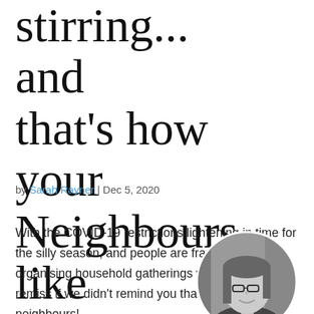stirring... and that's how your Neighbours like it!!
by Sarah Rayner | Dec 5, 2020
With the COVID-19 restrictions lightening in time for the silly season, and people are frantically organising household gatherings we would be remiss if we didn't remind you that you have neighbours!
[Figure (photo): Circular black and white portrait photo of Sarah Rayner, a woman with long hair and glasses, smiling]